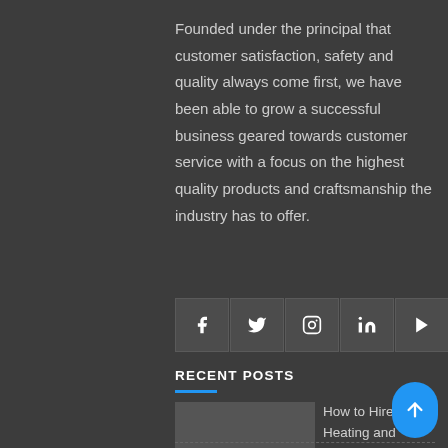Founded under the principal that customer satisfaction, safety and quality always come first, we have been able to grow a successful business geared towards customer service with a focus on the highest quality products and craftsmanship the industry has to offer.
[Figure (infographic): Row of 5 social media icon buttons: Facebook (f), Twitter (bird), Instagram (camera), LinkedIn (in), YouTube (play button), displayed as square boxes with white icons on dark background.]
RECENT POSTS
How to Hire a Heating and Cooling Contractor